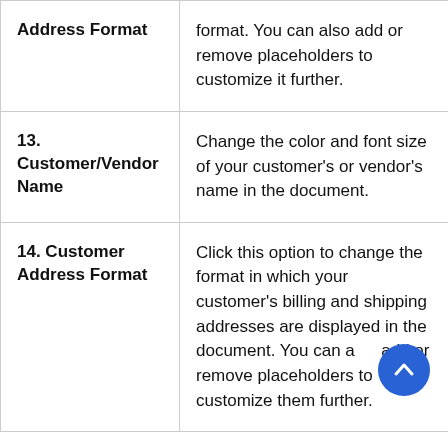| Option | Description |
| --- | --- |
| Address Format | format. You can also add or remove placeholders to customize it further. |
| 13. Customer/Vendor Name | Change the color and font size of your customer's or vendor's name in the document. |
| 14. Customer Address Format | Click this option to change the format in which your customer's billing and shipping addresses are displayed in the document. You can also add or remove placeholders to customize them further. |